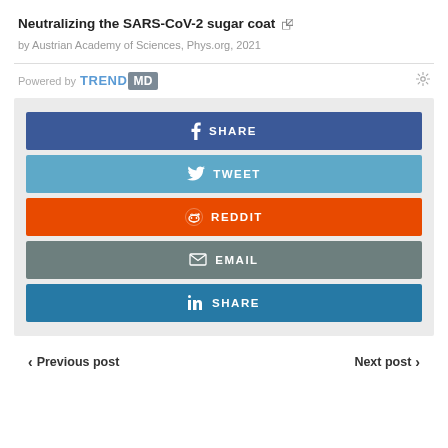Neutralizing the SARS-CoV-2 sugar coat
by Austrian Academy of Sciences, Phys.org, 2021
[Figure (infographic): Social share buttons panel: Facebook SHARE (dark blue), Twitter TWEET (light blue), Reddit REDDIT (orange), Email EMAIL (gray-green), LinkedIn SHARE (blue). Powered by TRENDMD logo above.]
< Previous post
Next post >